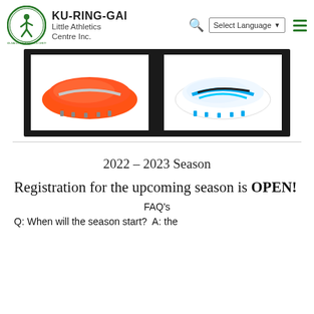KU-RING-GAI Little Athletics Centre Inc.
[Figure (photo): Two pairs of athletic running spikes/shoes on a black background — one red/orange pair on the left and one white/blue pair on the right]
2022 – 2023 Season
Registration for the upcoming season is OPEN!
FAQ's
Q: When will the season start?  A: the